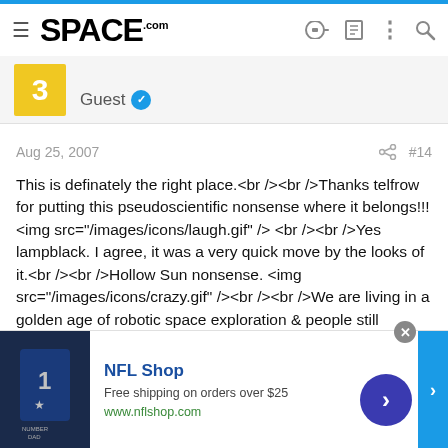SPACE.com
3   Guest
Aug 25, 2007   #14
This is definately the right place.<br /><br />Thanks telfrow for putting this pseudoscientific nonsense where it belongs!!! <img src="/images/icons/laugh.gif" /> <br /><br />Yes lampblack. I agree, it was a very quick move by the looks of it.<br /><br />Hollow Sun nonsense. <img src="/images/icons/crazy.gif" /><br /><br />We are living in a golden age of robotic space exploration & people still believe<br />this sort of nonsense. <br /><br />It does make me very cross.<br /><br />Andrew Brown. <div class="Discussion_UserSignature"> <p><font color="#000080">"I
[Figure (screenshot): NFL Shop advertisement banner with Dallas Cowboys jersey image, text 'NFL Shop Free shipping on orders over $25 www.nflshop.com' and a blue navigation arrow]